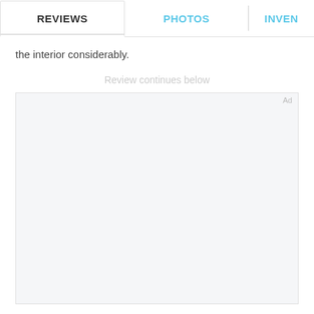REVIEWS | PHOTOS | INVEN
the interior considerably.
Review continues below
[Figure (other): Advertisement placeholder box with 'Ad' label in top right corner, light gray background]